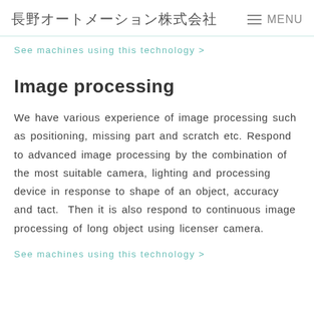長野オートメーション株式会社  MENU
See machines using this technology >
Image processing
We have various experience of image processing such as positioning, missing part and scratch etc. Respond to advanced image processing by the combination of the most suitable camera, lighting and processing device in response to shape of an object, accuracy and tact.  Then it is also respond to continuous image processing of long object using licenser camera.
See machines using this technology >